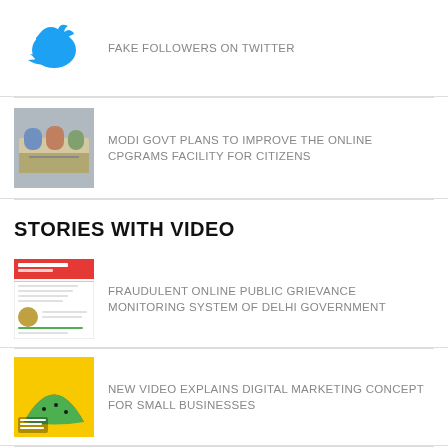[Figure (illustration): Twitter bird logo in blue]
FAKE FOLLOWERS ON TWITTER
[Figure (photo): People sitting around a table in a meeting or training session]
MODI GOVT PLANS TO IMPROVE THE ONLINE CPGRAMS FACILITY FOR CITIZENS
STORIES WITH VIDEO
[Figure (screenshot): Screenshot of an online public grievance monitoring system]
FRAUDULENT ONLINE PUBLIC GRIEVANCE MONITORING SYSTEM OF DELHI GOVERNMENT
[Figure (illustration): Yellow thumbnail with watermelon slice graphic and text about digital applications]
NEW VIDEO EXPLAINS DIGITAL MARKETING CONCEPT FOR SMALL BUSINESSES
ESANJEEVANI PROVIDES FREE